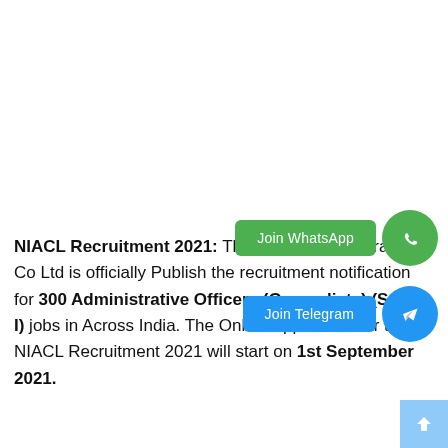[Figure (other): Join WhatsApp button (green rounded rectangle) with WhatsApp circular icon to the right]
[Figure (other): Join Telegram button (blue rounded rectangle) with Telegram circular icon to the right]
[Figure (other): Scroll to top button (light blue square with white up arrow) in bottom-right corner]
NIACL Recruitment 2021: The New India Assurance Co Ltd is officially Publish the recruitment notification for 300 Administrative Officers (Generalists) (Scale-I) jobs in Across India. The Online Application for the NIACL Recruitment 2021 will start on 1st September 2021.